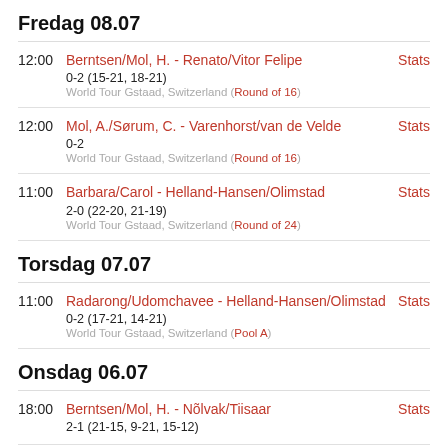Fredag 08.07
12:00 | Berntsen/Mol, H. - Renato/Vitor Felipe | 0-2 (15-21, 18-21) | World Tour Gstaad, Switzerland (Round of 16) | Stats
12:00 | Mol, A./Sørum, C. - Varenhorst/van de Velde | 0-2 | World Tour Gstaad, Switzerland (Round of 16) | Stats
11:00 | Barbara/Carol - Helland-Hansen/Olimstad | 2-0 (22-20, 21-19) | World Tour Gstaad, Switzerland (Round of 24) | Stats
Torsdag 07.07
11:00 | Radarong/Udomchavee - Helland-Hansen/Olimstad | 0-2 (17-21, 14-21) | World Tour Gstaad, Switzerland (Pool A) | Stats
Onsdag 06.07
18:00 | Berntsen/Mol, H. - Nõlvak/Tiisaar | 2-1 (21-15, 9-21, 15-12) | Stats